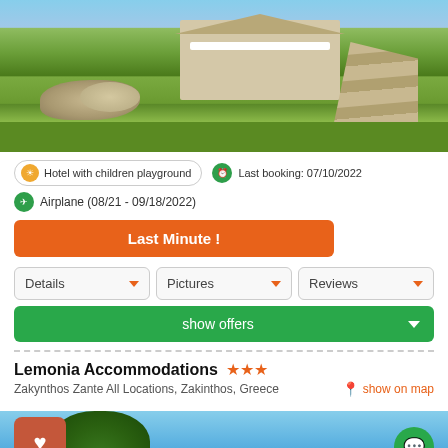[Figure (photo): Outdoor photo of a hotel with garden, rocks, green lawn, stone path, and building with white balcony railing]
Hotel with children playground
Last booking: 07/10/2022
Airplane (08/21 - 09/18/2022)
Last Minute !
Details
Pictures
Reviews
show offers
Lemonia Accommodations ★★★
Zakynthos Zante All Locations, Zakinthos, Greece
show on map
[Figure (photo): Bottom portion of hotel listing showing a tree and outdoor scene with blue sky]